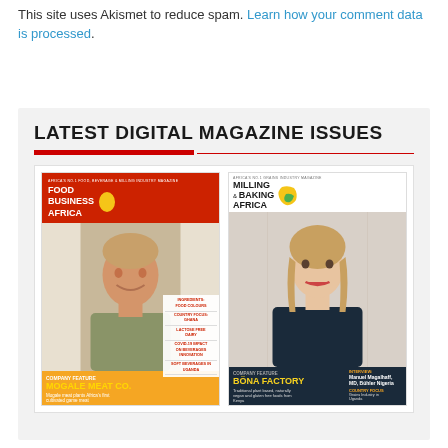This site uses Akismet to reduce spam. Learn how your comment data is processed.
LATEST DIGITAL MAGAZINE ISSUES
[Figure (photo): Two magazine covers side by side: 'Food Business Africa' featuring a smiling man and 'Milling & Baking Africa' featuring a woman, both industry publications.]